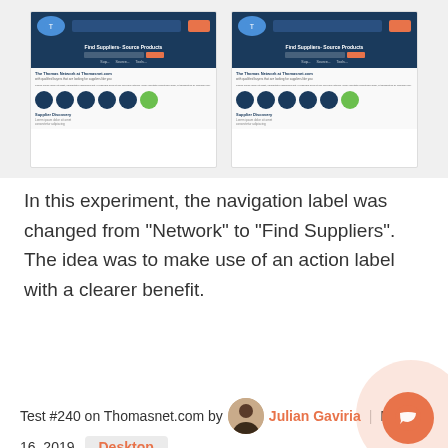[Figure (screenshot): Two side-by-side screenshots of Thomasnet.com website showing the navigation with 'Find Suppliers - Source Products' header, search bar, and supplier discovery section with circular icon buttons]
In this experiment, the navigation label was changed from "Network" to "Find Suppliers". The idea was to make use of an action label with a clearer benefit.
Test #240 on Thomasnet.com by Julian Gaviria | May 16, 2019   Desktop
Julian Gaviria Tested Pattern #13: